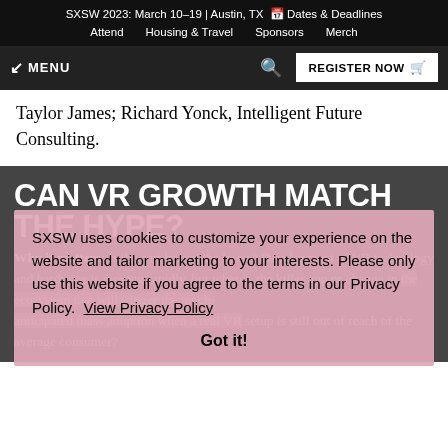SXSW 2023: March 10–19 | Austin, TX 📅 Dates & Deadlines Attend  Housing & Travel  Sponsors  Merch
↙ MENU   🔍   REGISTER NOW 🛒
Taylor James; Richard Yonck, Intelligent Future Consulting.
CAN VR GROWTH MATCH THE HYPE?
Why it matters: Is the cart before the horse? Development of VR technology and hardware is moving rapidly, but where's the killer app or change in the ecosystem that will trigger the much-anticipated mass adoption when a real VR setup is still out of reach of the average consumer?
SXSW uses cookies to customize your experience on the website and tailor marketing to your interests. Please only use this website if you agree to the terms in our Privacy Policy. View Privacy Policy
Got it!